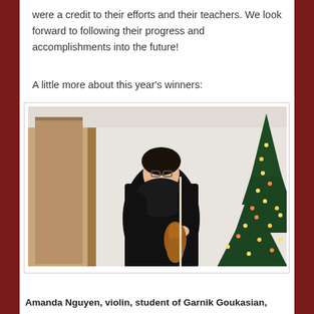were a credit to their efforts and their teachers. We look forward to following their progress and accomplishments into the future!
A little more about this year's winners:
[Figure (photo): A young woman holding a violin and bow, wearing a black dress, standing in front of a decorated Christmas tree. She is smiling and wearing glasses.]
Amanda Nguyen, violin, student of Garnik Goukasian,